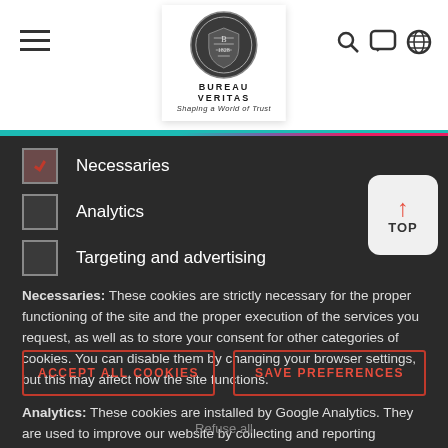[Figure (logo): Bureau Veritas logo with shield emblem, text BUREAU VERITAS and tagline Shaping a World of Trust]
Necessaries (checked)
Analytics
Targeting and advertising
Necessaries: These cookies are strictly necessary for the proper functioning of the site and the proper execution of the services you request, as well as to store your consent for other categories of cookies. You can disable them by changing your browser settings, but this may affect how the site functions.
Analytics: These cookies are installed by Google Analytics. They are used to improve our website by collecting and reporting information on how you use it. The cookies collect information in a way that does not directly identify anyone.
ACCEPT ALL COOKIES
SAVE PREFERENCES
Refuse all